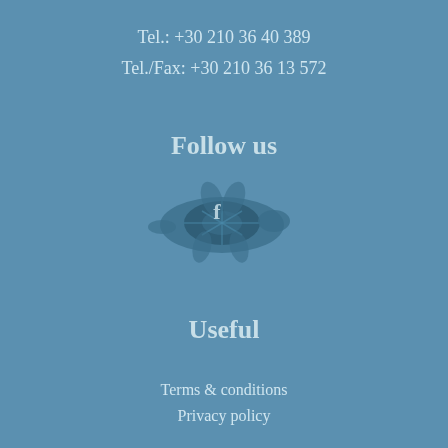Tel.: +30 210 36 40 389
Tel./Fax: +30 210 36 13 572
Follow us
[Figure (illustration): A sea turtle illustration with a Facebook-like 'f' icon overlaid, swimming leftward, rendered in muted dark teal tones against the blue background]
Useful
Terms & conditions
Privacy policy